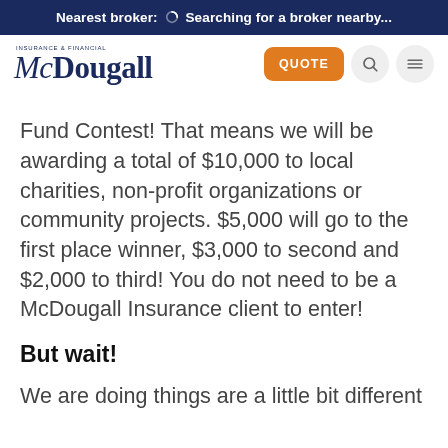Nearest broker: Searching for a broker nearby...
[Figure (logo): McDougall Insurance & Financial logo with orange QUOTE button, search icon, and hamburger menu icon]
Fund Contest! That means we will be awarding a total of $10,000 to local charities, non-profit organizations or community projects. $5,000 will go to the first place winner, $3,000 to second and $2,000 to third! You do not need to be a McDougall Insurance client to enter!
But wait!
We are doing things are a little bit different